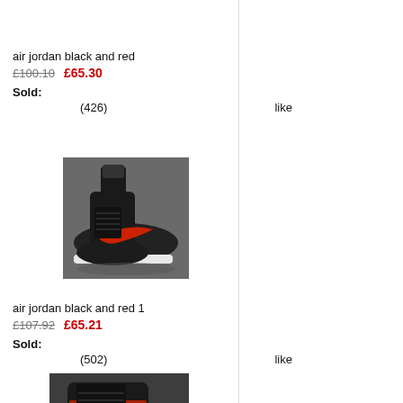air jordan black and red
£100.10  £65.30
Sold:
(426)  like
[Figure (photo): Air Jordan black and red sneaker from the side/front angle on pavement]
air jordan black and red 1
£107.92  £65.21
Sold:
(502)  like
[Figure (photo): Air Jordan black red and yellow sneaker partially visible at bottom of page]